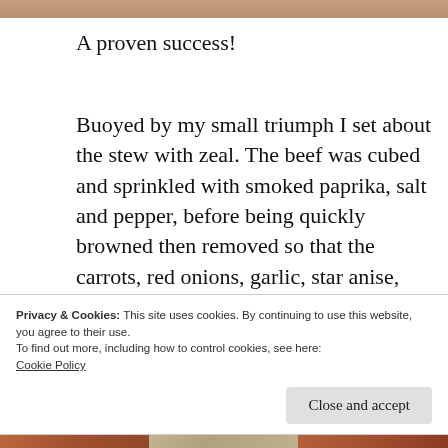[Figure (photo): Top cropped image strip, brownish-orange tones]
A proven success!
Buoyed by my small triumph I set about the stew with zeal. The beef was cubed and sprinkled with smoked paprika, salt and pepper, before being quickly browned then removed so that the carrots, red onions, garlic, star anise, thyme and rosemary could jostle for flavour favour in the pan. Once these had
Privacy & Cookies: This site uses cookies. By continuing to use this website, you agree to their use.
To find out more, including how to control cookies, see here:
Cookie Policy
Close and accept
[Figure (photo): Bottom strip of three thumbnail images]